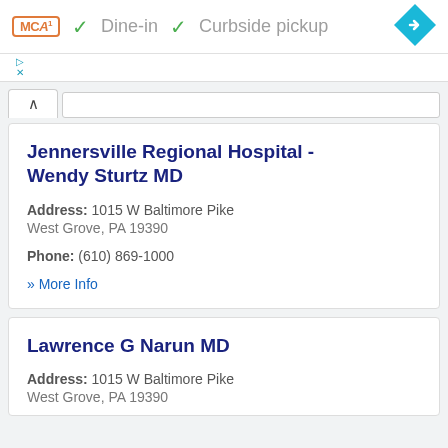[Figure (screenshot): Top advertisement banner with MCA logo, Dine-in and Curbside pickup checkmarks, and a navigation diamond icon]
Jennersville Regional Hospital - Wendy Sturtz MD
Address: 1015 W Baltimore Pike West Grove, PA 19390
Phone: (610) 869-1000
» More Info
Lawrence G Narun MD
Address: 1015 W Baltimore Pike West Grove, PA 19390